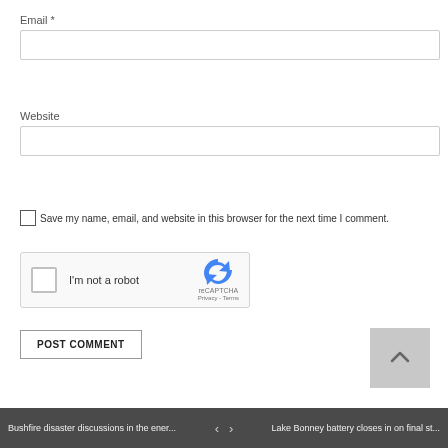Email *
Website
Save my name, email, and website in this browser for the next time I comment.
[Figure (other): reCAPTCHA widget with checkbox labeled 'I'm not a robot', reCAPTCHA logo, Privacy and Terms links]
POST COMMENT
Bushfire disaster discussions in the ener... < > Lake Bonney battery closes in on final st...